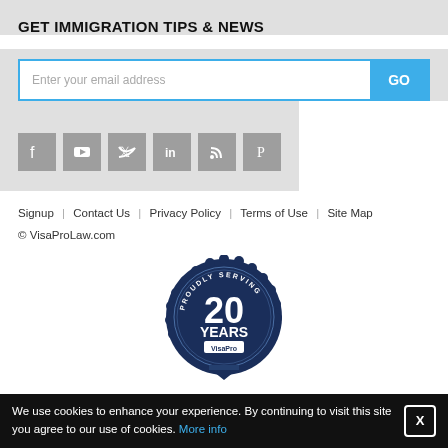GET IMMIGRATION TIPS & NEWS
[Figure (screenshot): Email subscription input field with placeholder 'Enter your email address' and a blue GO button]
[Figure (infographic): Social media icons row: Facebook, YouTube, Twitter, LinkedIn, RSS, Pinterest - grey square icon buttons]
Signup | Contact Us | Privacy Policy | Terms of Use | Site Map
© VisaProLaw.com
[Figure (logo): Circular badge/seal with navy blue background reading 'PROUDLY SERVING 20 YEARS VisaPro' with decorative scalloped edge and ribbon at bottom]
We use cookies to enhance your experience. By continuing to visit this site you agree to our use of cookies. More info